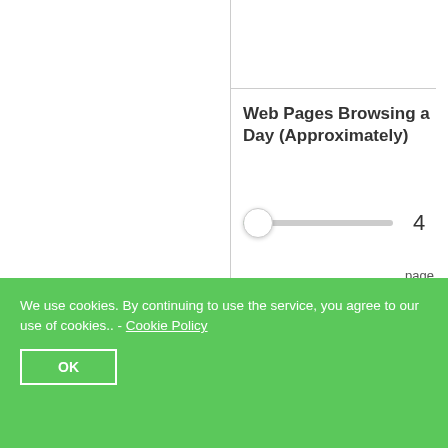Web Pages Browsing a Day (Approximately)
4 pages / day
Month
120 Pages
Total DATA
We use cookies. By continuing to use the service, you agree to our use of cookies.. - Cookie Policy
OK